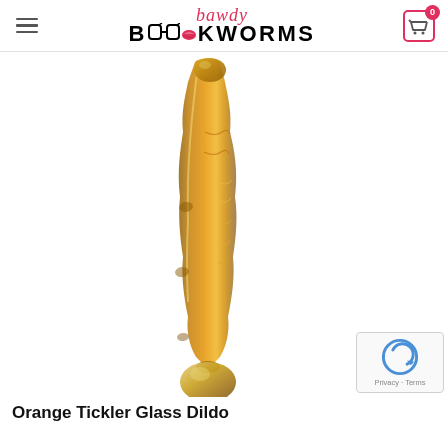bawdy BOOKWORMS
[Figure (photo): Orange amber glass dildo product photo on white background, curved elongated shape with textured ridges and a spherical base]
Orange Tickler Glass Dildo